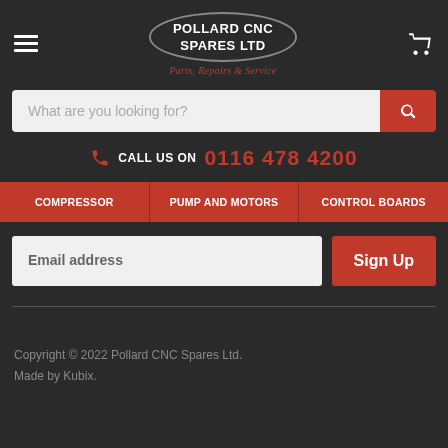[Figure (logo): Pollard CNC Spares Ltd logo with oval border and tagline 'Parts, Repairs & Service' in red italic]
What are you looking for?
CALL US ON 0116 478 4200
COMPRESSOR
PUMP AND MOTORS
CONTROL BOARDS
Email address
Sign Up
Copyright © 2022 Pollard CNC Spares Ltd.
Made by Kubix.